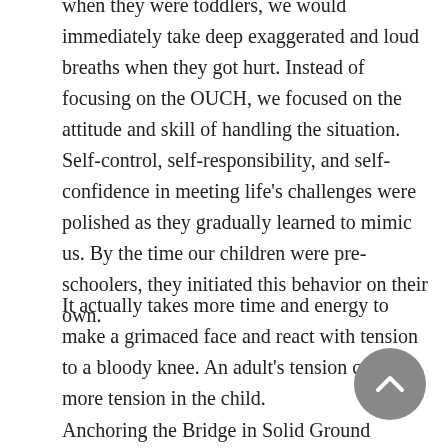when they were toddlers, we would immediately take deep exaggerated and loud breaths when they got hurt. Instead of focusing on the OUCH, we focused on the attitude and skill of handling the situation. Self-control, self-responsibility, and self-confidence in meeting life's challenges were polished as they gradually learned to mimic us. By the time our children were pre-schoolers, they initiated this behavior on their own.
It actually takes more time and energy to make a grimaced face and react with tension to a bloody knee. An adult's tension creates more tension in the child.
Anchoring the Bridge in Solid Ground Certainly ideal envisioning is great fun. Everything looks